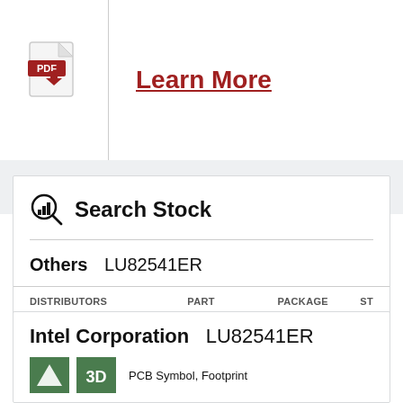[Figure (illustration): PDF file icon with red download arrow]
Learn More
Search Stock
Others  LU82541ER
| DISTRIBUTORS | PART | PACKAGE | ST |
| --- | --- | --- | --- |
| Bristol Electronics | LU82541ER |  |  |
Intel Corporation  LU82541ER
PCB Symbol, Footprint